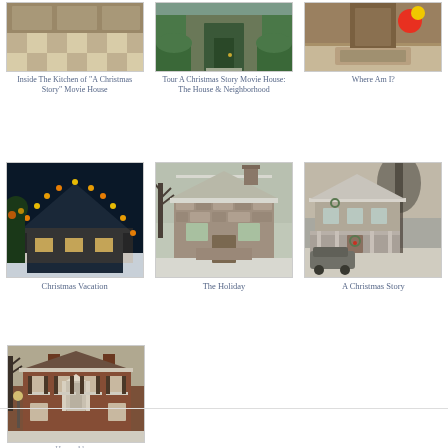[Figure (photo): Inside kitchen with checkered floor]
Inside The Kitchen of “A Christmas Story” Movie House
[Figure (photo): Green front door of A Christmas Story movie house exterior]
Tour A Christmas Story Movie House: The House & Neighborhood
[Figure (photo): Close-up of a doormat area]
Where Am I?
[Figure (photo): House decorated with Christmas lights at night in snow]
Christmas Vacation
[Figure (photo): Stone cottage in winter snow]
The Holiday
[Figure (photo): Vintage house exterior in snow with old car]
A Christmas Story
[Figure (photo): Brick colonial house exterior in snow]
Home Alone